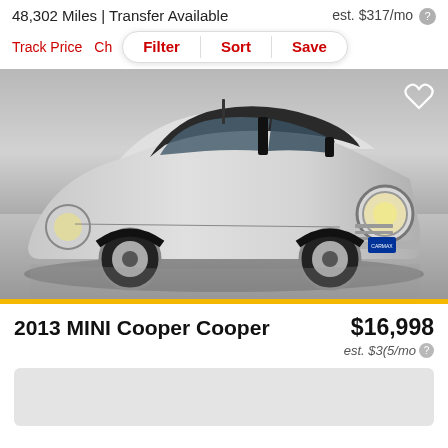48,302 Miles | Transfer Available
est. $317/mo
Track Price  Ch…  Filter  Sort  Save
[Figure (photo): Silver 2013 MINI Cooper photographed in a studio setting from a 3/4 front angle on a gray floor. A blue dealer placard is visible on the front grille area.]
2013 MINI Cooper Cooper
$16,998
est. $3(5/mo